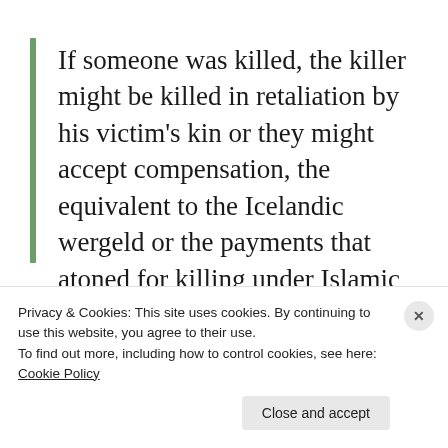If someone was killed, the killer might be killed in retaliation by his victim's kin or they might accept compensation, the equivalent to the Icelandic wergeld or the payments that atoned for killing under Islamic law or among the Somali.
Privacy & Cookies: This site uses cookies. By continuing to use this website, you agree to their use.
To find out more, including how to control cookies, see here: Cookie Policy